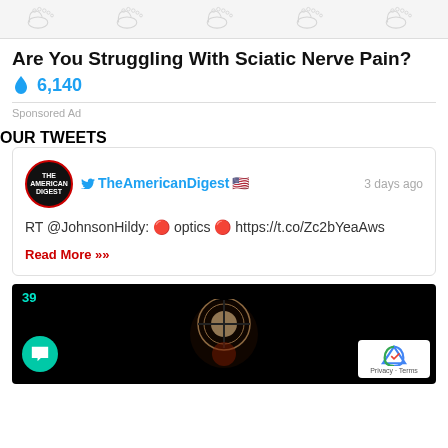[Figure (illustration): Row of foot/leg sketch illustrations against a light gray background, forming an ad image strip]
Are You Struggling With Sciatic Nerve Pain?
🔥 6,140
Sponsored Ad
OUR TWEETS
[Figure (screenshot): Tweet card from TheAmericanDigest with US flag emoji, posted 3 days ago. Text: RT @JohnsonHildy: 🔴 optics 🔴 https://t.co/Zc2bYeaAws. Read More >> link in red.]
[Figure (screenshot): Dark video thumbnail showing a target/crosshair circle in center, number 39 in teal top-left, green chat button bottom-left, reCAPTCHA badge bottom-right with Privacy and Terms text]